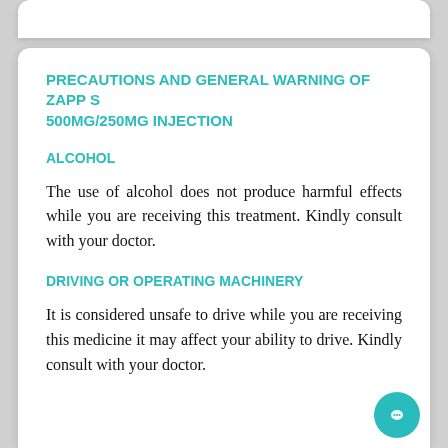PRECAUTIONS AND GENERAL WARNING OF ZAPP S 500MG/250MG INJECTION
ALCOHOL
The use of alcohol does not produce harmful effects while you are receiving this treatment. Kindly consult with your doctor.
DRIVING OR OPERATING MACHINERY
It is considered unsafe to drive while you are receiving this medicine it may affect your ability to drive. Kindly consult with your doctor.